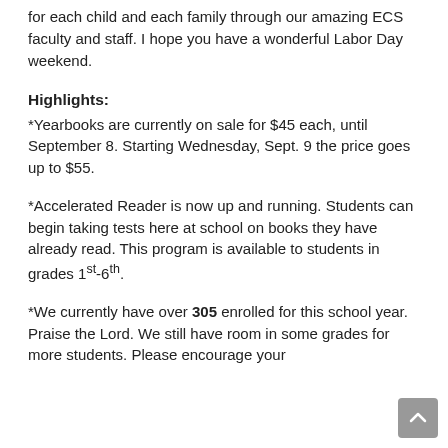for each child and each family through our amazing ECS faculty and staff.  I hope you have a wonderful Labor Day weekend.
Highlights:
*Yearbooks are currently on sale for $45 each, until September 8.  Starting Wednesday, Sept. 9 the price goes up to $55.
*Accelerated Reader is now up and running.  Students can begin taking tests here at school on books they have already read.  This program is available to students in grades 1st-6th.
*We currently have over 305 enrolled for this school year.  Praise the Lord.  We still have room in some grades for more students.  Please encourage your